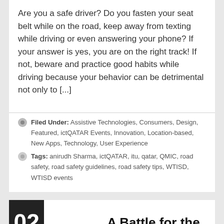Are you a safe driver? Do you fasten your seat belt while on the road, keep away from texting while driving or even answering your phone? If your answer is yes, you are on the right track! If not, beware and practice good habits while driving because your behavior can be detrimental not only to [...]
Filed Under: Assistive Technologies, Consumers, Design, Featured, ictQATAR Events, Innovation, Location-based, New Apps, Technology, User Experience
Tags: anirudh Sharma, ictQATAR, itu, qatar, QMIC, road safety, road safety guidelines, road safety tips, WTISD, WTISD events
A Battle for the Internet?
by Brian Wesolowski
Nothing less than the future of the Internet is on the agenda this week at the World Conference on International Telecommunications (WCIT-12). Then again, perhaps it's not, but the entire global technology world has it's eyes squarely focused on Dubai for the next several weeks as the WCIT-12 convention...